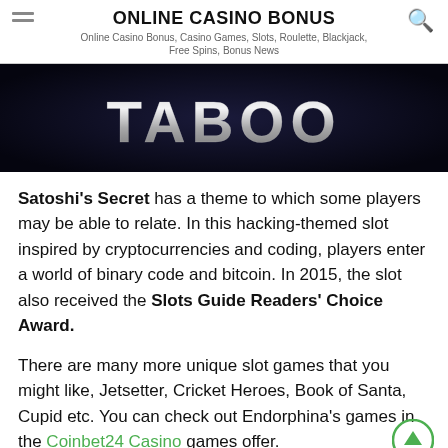ONLINE CASINO BONUS
Online Casino Bonus, Casino Games, Slots, Roulette, Blackjack, Free Spins, Bonus News
[Figure (photo): Dark banner image with the text TABOO in metallic chrome letters on a dark background]
Satoshi's Secret has a theme to which some players may be able to relate. In this hacking-themed slot inspired by cryptocurrencies and coding, players enter a world of binary code and bitcoin. In 2015, the slot also received the Slots Guide Readers' Choice Award.
There are many more unique slot games that you might like, Jetsetter, Cricket Heroes, Book of Santa, Cupid etc. You can check out Endorphina's games in the Coinbet24 Casino games offer.